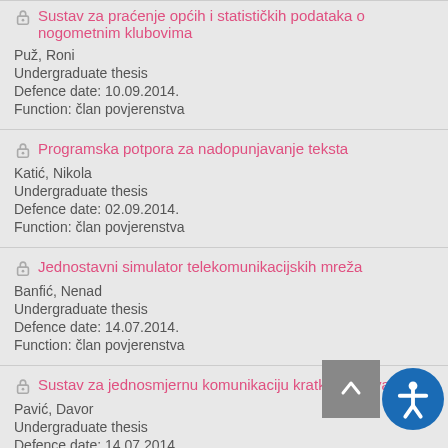Sustav za praćenje općih i statističkih podataka o nogometnim klubovima
Puž, Roni
Undergraduate thesis
Defence date: 10.09.2014.
Function: član povjerenstva
Programska potpora za nadopunjavanje teksta
Katić, Nikola
Undergraduate thesis
Defence date: 02.09.2014.
Function: član povjerenstva
Jednostavni simulator telekomunikacijskih mreža
Banfić, Nenad
Undergraduate thesis
Defence date: 14.07.2014.
Function: član povjerenstva
Sustav za jednosmjernu komunikaciju kratkim objavama
Pavić, Davor
Undergraduate thesis
Defence date: 14.07.2014.
Function: član povjerenstva